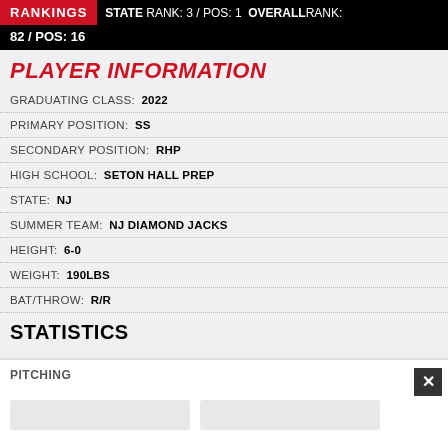RANKINGS  STATE RANK: 3 / POS: 1  OVERALL RANK: 82 / POS: 16
PLAYER INFORMATION
GRADUATING CLASS: 2022
PRIMARY POSITION: SS
SECONDARY POSITION: RHP
HIGH SCHOOL: SETON HALL PREP
STATE: NJ
SUMMER TEAM: NJ DIAMOND JACKS
HEIGHT: 6-0
WEIGHT: 190LBS
BAT/THROW: R/R
STATISTICS
PITCHING